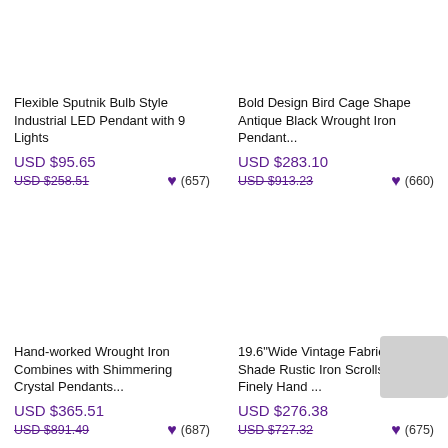Flexible Sputnik Bulb Style Industrial LED Pendant with 9 Lights
USD $95.65
USD $258.51
(657)
Bold Design Bird Cage Shape Antique Black Wrought Iron Pendant...
USD $283.10
USD $913.23
(660)
Hand-worked Wrought Iron Combines with Shimmering Crystal Pendants...
USD $365.51
USD $891.49
(687)
19.6"Wide Vintage Fabric Drum Shade Rustic Iron Scrolls and Finely Hand ...
USD $276.38
USD $727.32
(675)